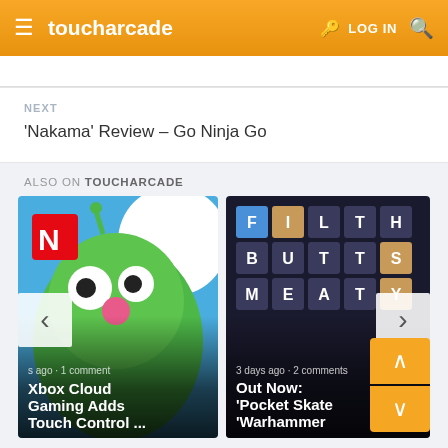toucharcade  LOG IN
NEXT
'Nakama' Review – Go Ninja Go
ALSO ON TOUCHARCADE
[Figure (screenshot): Article card showing Xbox Cloud Gaming with Netflix/green cartoon character background, title 'Xbox Cloud Gaming Adds Touch Control ...' with metadata 's ago · 1 comment']
[Figure (screenshot): Article card showing word grid puzzle (FILTH / BUTTS / MEATY) on dark background, title 'Out Now: Pocket Skate / Warhammer ...' with metadata '3 days ago · 2 comments']